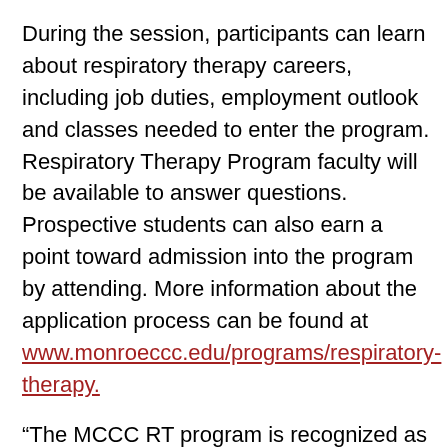During the session, participants can learn about respiratory therapy careers, including job duties, employment outlook and classes needed to enter the program. Respiratory Therapy Program faculty will be available to answer questions. Prospective students can also earn a point toward admission into the program by attending. More information about the application process can be found at www.monroeccc.edu/programs/respiratory-therapy.
“The MCCC RT program is recognized as one of the best in the state of Michigan and the United States," said Dr. Ijaz Ahmed, respiratory therapy program director. "We are a recipient of the Distinguished Credentialing Success Award from the Commission